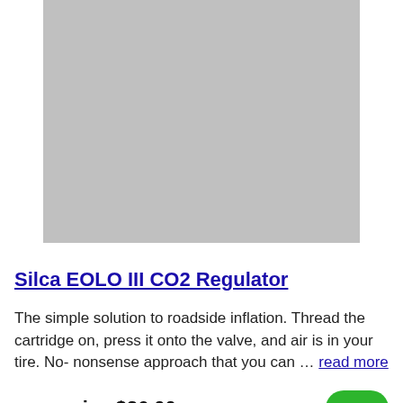[Figure (photo): Gray placeholder image for Silca EOLO III CO2 Regulator product]
Silca EOLO III CO2 Regulator
The simple solution to roadside inflation. Thread the cartridge on, press it onto the valve, and air is in your tire. No-nonsense approach that you can … read more
your price $26.00
[Figure (photo): Partial image of a lubricant bottle at the bottom of the page]